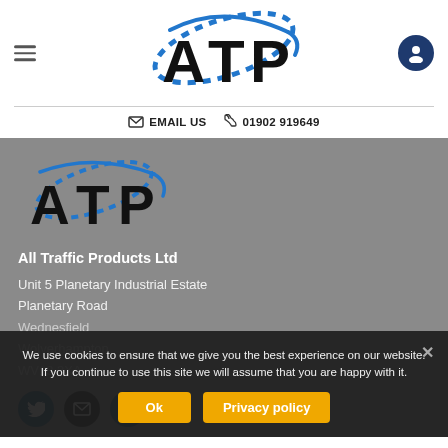[Figure (logo): ATP - All Traffic Products logo with blue swoosh arc and road/dotted line design]
EMAIL US  01902 919649
[Figure (logo): ATP logo (larger version) on gray background]
All Traffic Products Ltd
Unit 5 Planetary Industrial Estate
Planetary Road
Wednesfield
Wolverhampton
WV13 3XA
We use cookies to ensure that we give you the best experience on our website. If you continue to use this site we will assume that you are happy with it.
Ok   Privacy policy